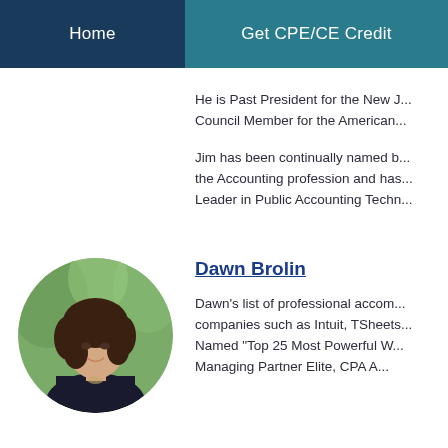Home | Get CPE/CE Credit
He is Past President for the New J... Council Member for the American...
Jim has been continually named b... the Accounting profession and ha... Leader in Public Accounting Techn...
[Figure (photo): Circular headshot of Dawn Brolin, a woman with dark curly hair, wearing a dark blazer, photographed outdoors with a green background.]
Dawn Brolin
Dawn's list of professional accom... companies such as Intuit, TSheets... Named "Top 25 Most Powerful W... Managing Partner Elite, CPA A...